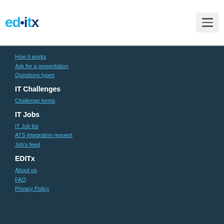[Figure (logo): EDITx logo with light blue and dark blue text]
How it works
Ask for a presentation
Questions types
IT Challenges
Challenge terms
IT Jobs
IT Job list
ATS integration request
Job's feed
EDITx
About us
FAQ
Privacy Policy